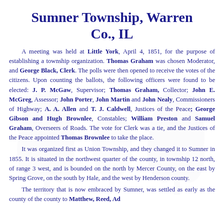Sumner Township, Warren Co., IL
A meeting was held at Little York, April 4, 1851, for the purpose of establishing a township organization. Thomas Graham was chosen Moderator, and George Black, Clerk. The polls were then opened to receive the votes of the citizens. Upon counting the ballots, the following officers were found to be elected: J. P. McGaw, Supervisor; Thomas Graham, Collector; John E. McGreg, Assessor; John Porter, John Martin and John Nealy, Commissioners of Highway; A. A. Allen and T. J. Caldwell, Justices of the Peace; George Gibson and Hugh Brownlee, Constables; William Preston and Samuel Graham, Overseers of Roads. The vote for Clerk was a tie, and the Justices of the Peace appointed Thomas Brownlee to take the place. It was organized first as Union Township, and they changed it to Sumner in 1855. It is situated in the northwest quarter of the county, in township 12 north, of range 3 west, and is bounded on the north by Mercer County, on the east by Spring Grove, on the south by Hale, and the west by Henderson county. The territory that is now embraced by Sumner, was settled as early as...